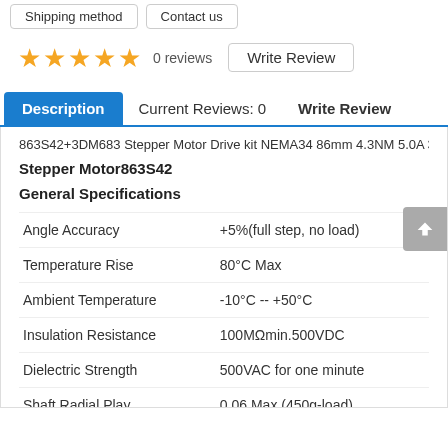Shipping method   Contact us
★★★★★ 0 reviews  Write Review
Description | Current Reviews: 0 | Write Review
863S42+3DM683 Stepper Motor Drive kit NEMA34 86mm 4.3NM 5.0A 3ph
Stepper Motor863S42
General Specifications
| Property | Value |
| --- | --- |
| Angle Accuracy | +5%(full step, no load) |
| Temperature Rise | 80°C Max |
| Ambient Temperature | -10°C -- +50°C |
| Insulation Resistance | 100MΩmin.500VDC |
| Dielectric Strength | 500VAC for one minute |
| Shaft Radial Play | 0.06 Max (450g-load) |